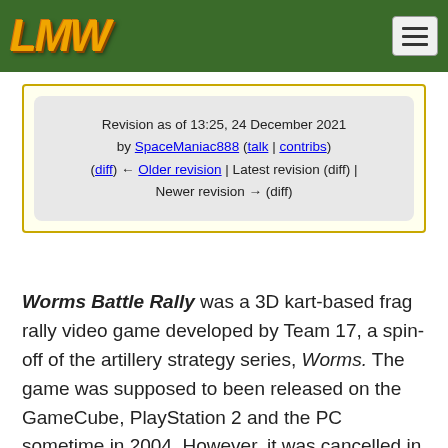LMW (logo) with green header bar and hamburger menu
Revision as of 13:25, 24 December 2021 by SpaceManiac888 (talk | contribs)
(diff) ← Older revision | Latest revision (diff) | Newer revision → (diff)
Worms Battle Rally was a 3D kart-based frag rally video game developed by Team 17, a spin-off of the artillery strategy series, Worms. The game was supposed to been released on the GameCube, PlayStation 2 and the PC sometime in 2004. However, it was cancelled in 2003, being replaced by Worms Forts: Under Siege.[1]